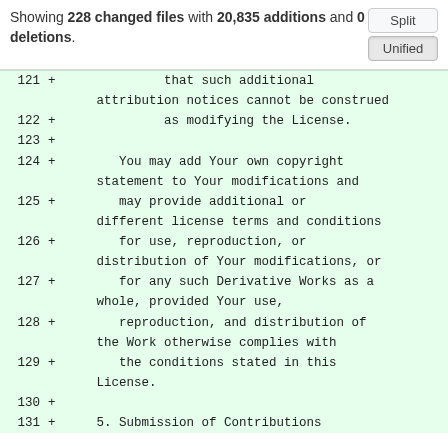Showing 228 changed files with 20,835 additions and 0 deletions.
| line | marker | code |
| --- | --- | --- |
| 121 | + |             that such additional attribution notices cannot be construed |
| 122 | + |             as modifying the License. |
| 123 | + |  |
| 124 | + |       You may add Your own copyright statement to Your modifications and |
| 125 | + |       may provide additional or different license terms and conditions |
| 126 | + |       for use, reproduction, or distribution of Your modifications, or |
| 127 | + |       for any such Derivative Works as a whole, provided Your use, |
| 128 | + |       reproduction, and distribution of the Work otherwise complies with |
| 129 | + |       the conditions stated in this License. |
| 130 | + |  |
| 131 | + |    5. Submission of Contributions |